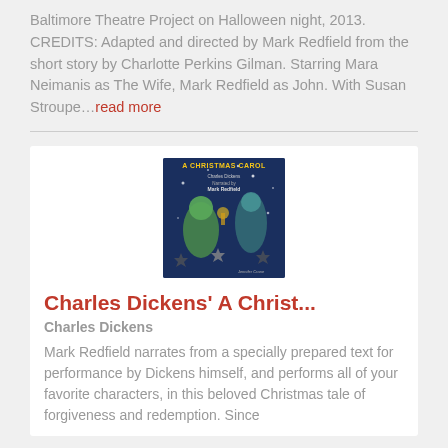Baltimore Theatre Project on Halloween night, 2013. CREDITS: Adapted and directed by Mark Redfield from the short story by Charlotte Perkins Gilman. Starring Mara Neimanis as The Wife, Mark Redfield as John. With Susan Stroupe...read more
[Figure (illustration): Book cover art for 'A Christmas Carol' narrated by Mark Redfield — dark blue background with ghostly green figures and stars]
Charles Dickens' A Christ...
Charles Dickens
Mark Redfield narrates from a specially prepared text for performance by Dickens himself, and performs all of your favorite characters, in this beloved Christmas tale of forgiveness and redemption. Since